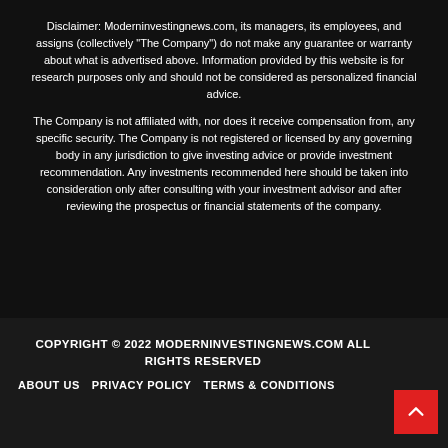Disclaimer: Moderninvestingnews.com, its managers, its employees, and assigns (collectively "The Company") do not make any guarantee or warranty about what is advertised above. Information provided by this website is for research purposes only and should not be considered as personalized financial advice.
The Company is not affiliated with, nor does it receive compensation from, any specific security. The Company is not registered or licensed by any governing body in any jurisdiction to give investing advice or provide investment recommendation. Any investments recommended here should be taken into consideration only after consulting with your investment advisor and after reviewing the prospectus or financial statements of the company.
COPYRIGHT © 2022 MODERNINVESTINGNEWS.COM ALL RIGHTS RESERVED
ABOUT US   PRIVACY POLICY   TERMS & CONDITIONS